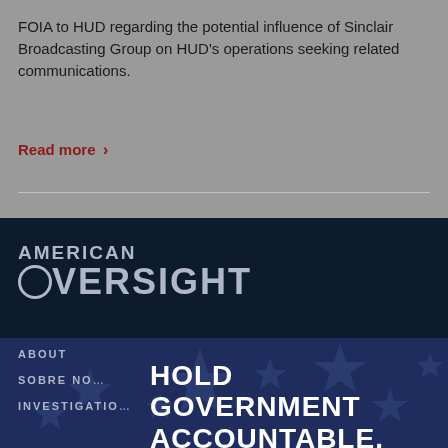FOIA to HUD regarding the potential influence of Sinclair Broadcasting Group on HUD's operations seeking related communications.
Read more ›
[Figure (logo): American Oversight logo — circle icon with 'AMERICAN OVERSIGHT' text in bold white/grey on dark navy background]
ABOUT
SOBRE NO…
INVESTIGATIO…
HOLD GOVERNMENT ACCOUNTABLE.